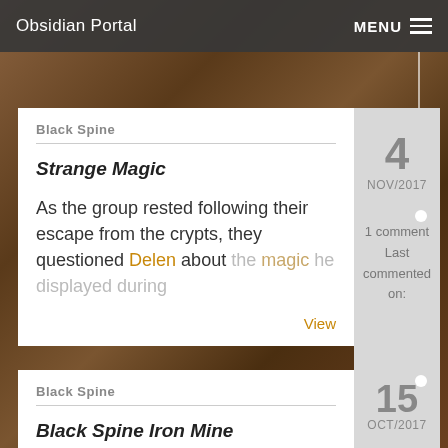Obsidian Portal   MENU
Black Spine
Strange Magic
As the group rested following their escape from the crypts, they questioned Delen about the magic he displayed during
View
4 NOV/2017
1 comment Last commented on:
Black Spine
Black Spine Iron Mine
Before venturing into the mines, the party took a brief
15 OCT/2017